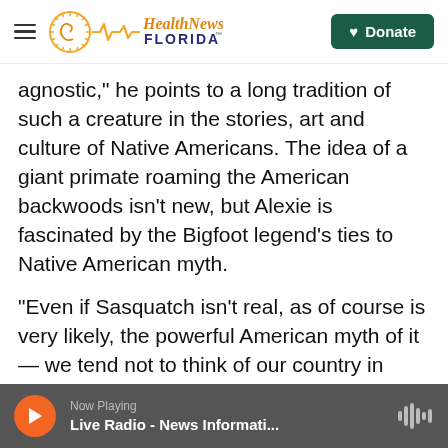Health News Florida — Donate
agnostic," he points to a long tradition of such a creature in the stories, art and culture of Native Americans. The idea of a giant primate roaming the American backwoods isn't new, but Alexie is fascinated by the Bigfoot legend's ties to Native American myth.
"Even if Sasquatch isn't real, as of course is very likely, the powerful American myth of it — we tend not to think of our country in terms of its myth, in terms of its creation stories," he says. "We tend to rely on European influences, and we don't think about American myth. Sasquatch is most definitely
Now Playing — Live Radio - News Informati...